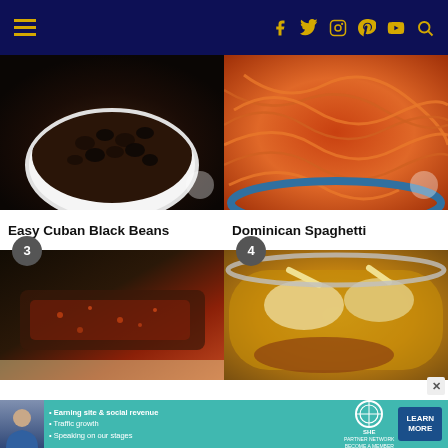Navigation bar with hamburger menu and social icons (Facebook, Twitter, Instagram, Pinterest, YouTube, Search)
[Figure (photo): Close-up of black beans in a white ceramic bowl]
Easy Cuban Black Beans
[Figure (photo): Spaghetti with red sauce in a blue bowl]
Dominican Spaghetti
[Figure (photo): Seasoned meat/steak on a baking tray, badge number 3]
[Figure (photo): Chicken stew with broth and ground meat in a pot, badge number 4]
[Figure (infographic): SHE Partner Network advertisement banner with woman photo, bullet points: Earning site & social revenue, Traffic growth, Speaking on our stages. Logo and LEARN MORE button.]